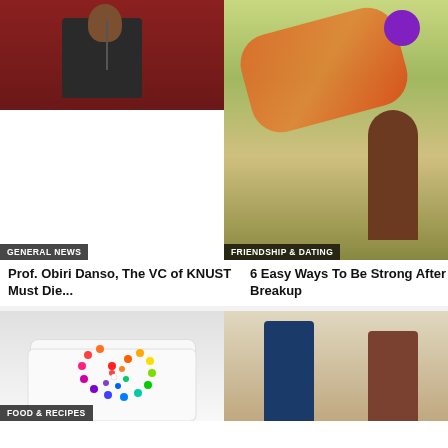[Figure (photo): Man in suit speaking at a microphone in front of a red background]
GENERAL NEWS
Prof. Obiri Danso, The VC of KNUST Must Die...
[Figure (photo): Illustrated woman with purple hair holding orange fabric, standing on rocks near a waterfall]
FRIENDSHIP & DATING
6 Easy Ways To Be Strong After A Breakup
[Figure (photo): Rainbow swirl cake with colorful candy balls on top]
FOOD & RECIPES
[Figure (photo): Man in blue suit facing away, woman in foreground looking at camera]